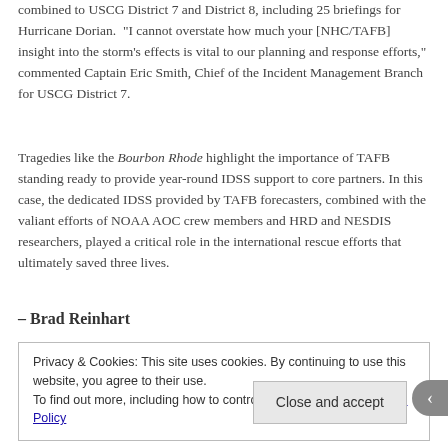combined to USCG District 7 and District 8, including 25 briefings for Hurricane Dorian. "I cannot overstate how much your [NHC/TAFB] insight into the storm's effects is vital to our planning and response efforts," commented Captain Eric Smith, Chief of the Incident Management Branch for USCG District 7.
Tragedies like the Bourbon Rhode highlight the importance of TAFB standing ready to provide year-round IDSS support to core partners. In this case, the dedicated IDSS provided by TAFB forecasters, combined with the valiant efforts of NOAA AOC crew members and HRD and NESDIS researchers, played a critical role in the international rescue efforts that ultimately saved three lives.
– Brad Reinhart
Privacy & Cookies: This site uses cookies. By continuing to use this website, you agree to their use.
To find out more, including how to control cookies, see here: Cookie Policy
Close and accept